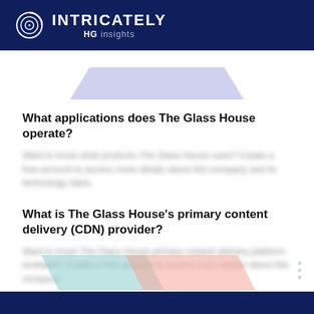INTRICATELY HG Insights
[Figure (illustration): Lavender/purple trapezoid shape, decorative element at top of content area]
What applications does The Glass House operate?
[Blurred/redacted text — want to know what products The Glass House uses? Create a free account to access more]
What is The Glass House's primary content delivery (CDN) provider?
[Blurred/redacted text — want to know The Glass House primary content delivery platform available? Create a free account to access more]
[Figure (illustration): Teal and pink/salmon overlapping trapezoid shapes, decorative element at bottom of content area]